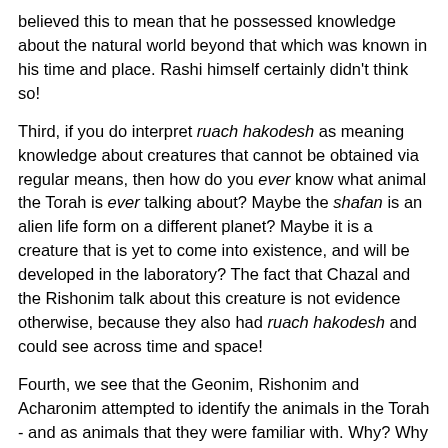believed this to mean that he possessed knowledge about the natural world beyond that which was known in his time and place. Rashi himself certainly didn't think so!
Third, if you do interpret ruach hakodesh as meaning knowledge about creatures that cannot be obtained via regular means, then how do you ever know what animal the Torah is ever talking about? Maybe the shafan is an alien life form on a different planet? Maybe it is a creature that is yet to come into existence, and will be developed in the laboratory? The fact that Chazal and the Rishonim talk about this creature is not evidence otherwise, because they also had ruach hakodesh and could see across time and space!
Fourth, we see that the Geonim, Rishonim and Acharonim attempted to identify the animals in the Torah - and as animals that they were familiar with. Why? Why did they assume that they would know these animals, if they were described in Tanach with ruach hakodesh and could live in distant regions of space or time?
Fifth, if we look at the rest of Nach in general and Barchi